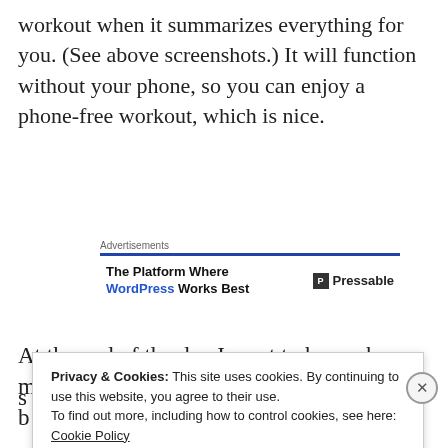workout when it summarizes everything for you. (See above screenshots.) It will function without your phone, so you can enjoy a phone-free workout, which is nice.
[Figure (screenshot): Advertisement block: 'The Platform Where WordPress Works Best' with Pressable logo, blue top border]
At the end of the day I want to know, how many
[Figure (screenshot): Cookie consent banner overlay with privacy notice and 'Close and accept' button]